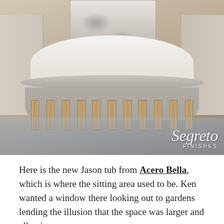[Figure (photo): Bathroom renovation photo showing a new Jason tub installed where a sitting area used to be. The white oval tub has an exposed wooden frame/framing underneath with vertical slats visible. Behind the tub are distressed/aged decorative panels. There are paint color samples on the tub rim. The floor has blue protective tarps. Built-in shelves are visible on both sides. A Segreto Finishes watermark logo appears in the bottom right corner.]
Here is the new Jason tub from Acero Bella, which is where the sitting area used to be. Ken wanted a window there looking out to gardens lending the illusion that the space was larger and allowing more natural light + flooring. This would have been very...